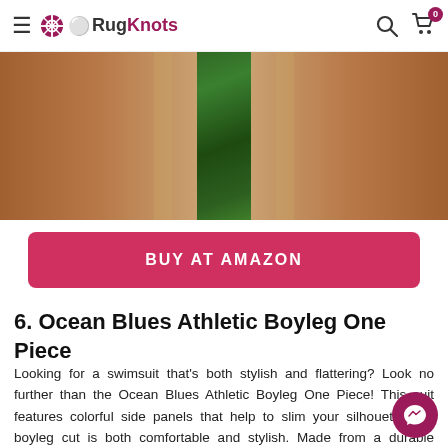≡ RugKnots [search icon] [cart icon] 0
[Figure (photo): Cropped product photo showing a person's torso wearing a green tropical-print bikini/swimsuit, skin visible on both sides.]
BUY AT AMAZON
6. Ocean Blues Athletic Boyleg One Piece
Looking for a swimsuit that's both stylish and flattering? Look no further than the Ocean Blues Athletic Boyleg One Piece! This suit features colorful side panels that help to slim your silhouette, the boyleg cut is both comfortable and stylish. Made from a durable polyester/spandex blend, this suit will hold up to pool parties, days at the beach, and more. This suit is perfect for any